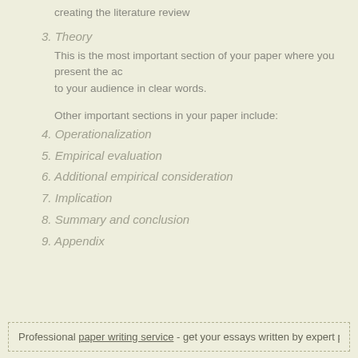creating the literature review
3. Theory
This is the most important section of your paper where you present the ac to your audience in clear words.
Other important sections in your paper include:
4. Operationalization
5. Empirical evaluation
6. Additional empirical consideration
7. Implication
8. Summary and conclusion
9. Appendix
Professional paper writing service - get your essays written by expert paper writer